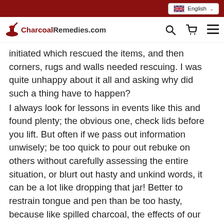CharcoalRemedies.com — English
initiated which rescued the items, and then corners, rugs and walls needed rescuing. I was quite unhappy about it all and asking why did such a thing have to happen?
I always look for lessons in events like this and found plenty; the obvious one, check lids before you lift. But often if we pass out information unwisely; be too quick to pour out rebuke on others without carefully assessing the entire situation, or blurt out hasty and unkind words, it can be a lot like dropping that jar! Better to restrain tongue and pen than be too hasty, because like spilled charcoal, the effects of our words can go a long way. Once you drop it, you will have to be very carefully cleaning it up to avoid making a